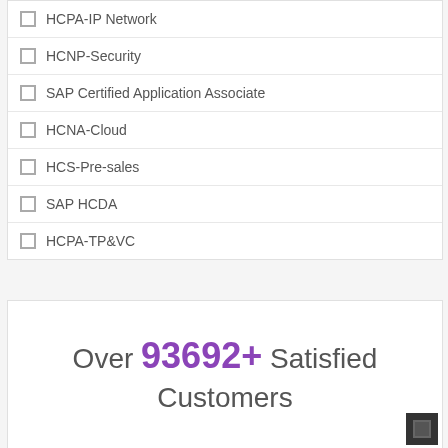HCPA-IP Network
HCNP-Security
SAP Certified Application Associate
HCNA-Cloud
HCS-Pre-sales
SAP HCDA
HCPA-TP&VC
Over 93692+ Satisfied Customers